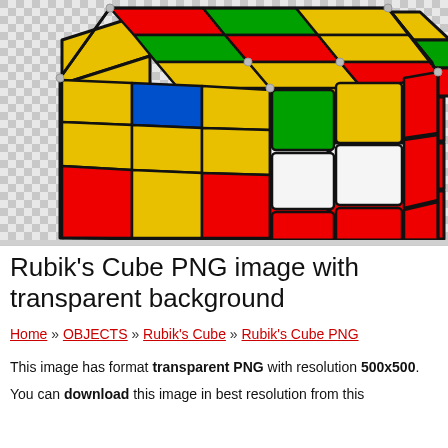[Figure (illustration): Rubik's Cube illustration on a transparent (checkered) background. The cube shows colored faces: red, green, yellow, blue, and white squares arranged in a 3x3 grid pattern on a perspective 3D cube view.]
Rubik's Cube PNG image with transparent background
Home » OBJECTS » Rubik's Cube » Rubik's Cube PNG
This image has format transparent PNG with resolution 500x500.
You can download this image in best resolution from this